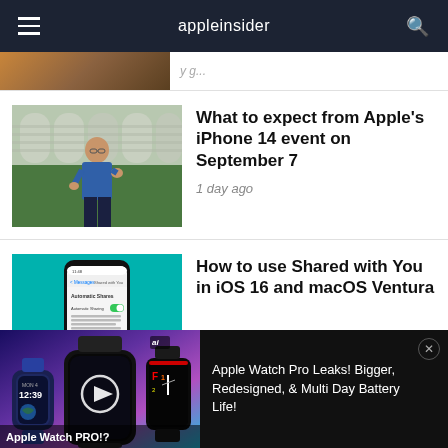appleinsider
[Figure (screenshot): Partial top article thumbnail, cropped]
What to expect from Apple's iPhone 14 event on September 7
1 day ago
[Figure (screenshot): iOS 16 Shared with You settings screenshot on teal background]
How to use Shared with You in iOS 16 and macOS Ventura
[Figure (screenshot): Apple Watch Pro video thumbnail showing smartwatches on gradient background with play button]
Apple Watch Pro Leaks! Bigger, Redesigned, & Multi Day Battery Life!
Apple Watch PRO!?